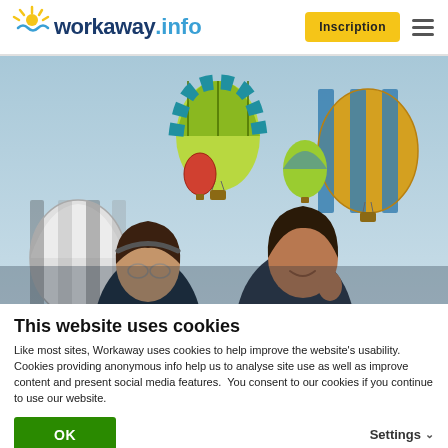workaway.info — Inscription
[Figure (photo): Two young women smiling outdoors with multiple hot air balloons floating in a blue sky background]
This website uses cookies
Like most sites, Workaway uses cookies to help improve the website's usability. Cookies providing anonymous info help us to analyse site use as well as improve content and present social media features.  You consent to our cookies if you continue to use our website.
OK
Settings